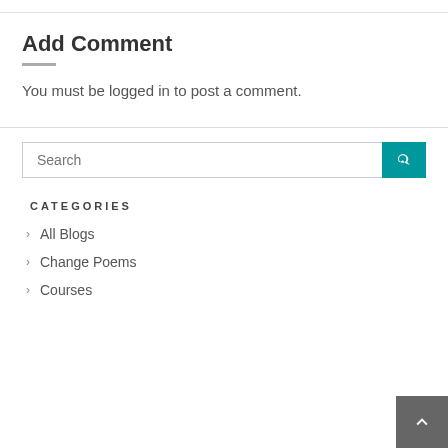Add Comment
You must be logged in to post a comment.
Search
CATEGORIES
All Blogs
Change Poems
Courses